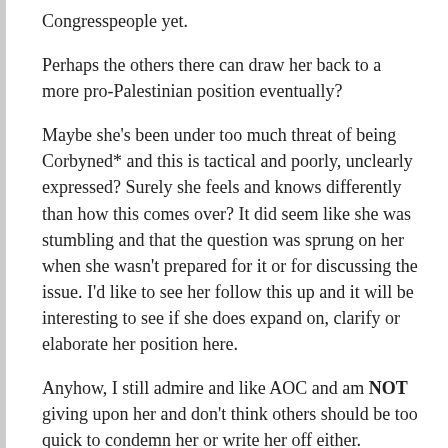Congresspeople yet.
Perhaps the others there can draw her back to a more pro-Palestinian position eventually?
Maybe she's been under too much threat of being Corbyned* and this is tactical and poorly, unclearly expressed? Surely she feels and knows differently than how this comes over? It did seem like she was stumbling and that the question was sprung on her when she wasn't prepared for it or for discussing the issue. I'd like to see her follow this up and it will be interesting to see if she does expand on, clarify or elaborate her position here.
Anyhow, I still admire and like AOC and am NOT giving upon her and don't think others should be too quick to condemn her or write her off either.
* Slandered as an anti-Semite to destroy her political career as